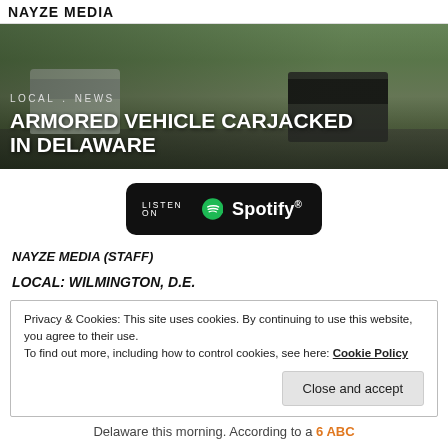NAYZE MEDIA
[Figure (photo): Hero image showing armored/law enforcement vehicles on a residential street with trees. Text overlay reads: LOCAL . NEWS / ARMORED VEHICLE CARJACKED IN DELAWARE]
ARMORED VEHICLE CARJACKED IN DELAWARE
[Figure (other): Listen on Spotify badge button]
NAYZE MEDIA (STAFF)
LOCAL: WILMINGTON, D.E.
Privacy & Cookies: This site uses cookies. By continuing to use this website, you agree to their use. To find out more, including how to control cookies, see here: Cookie Policy
Delaware this morning. According to a 6 ABC